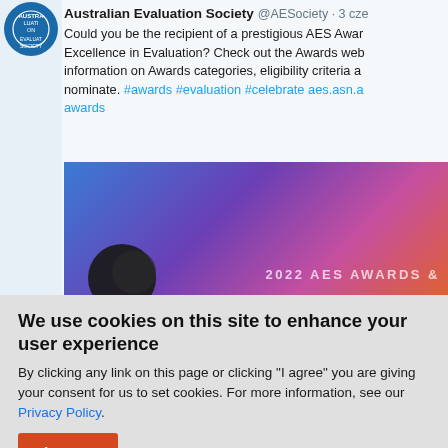[Figure (screenshot): Twitter/social media post from Australian Evaluation Society (@AESociety) showing a tweet about AES Awards for Excellence in Evaluation, with a blue/purple/pink gradient banner image showing '2022 AES AWARDS' text and AES logo]
We use cookies on this site to enhance your user experience
By clicking any link on this page or clicking "I agree" you are giving your consent for us to set cookies. For more information, see our Privacy Policy.
I agree